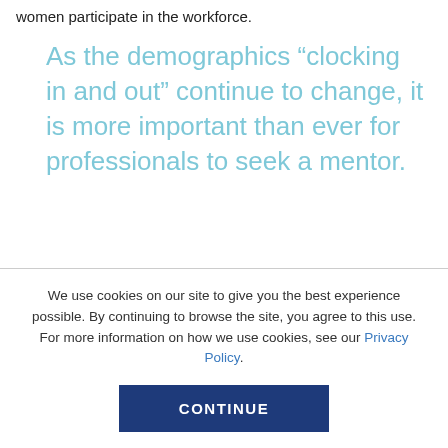women participate in the workforce.
As the demographics “clocking in and out” continue to change, it is more important than ever for professionals to seek a mentor.
We use cookies on our site to give you the best experience possible. By continuing to browse the site, you agree to this use. For more information on how we use cookies, see our Privacy Policy.
CONTINUE